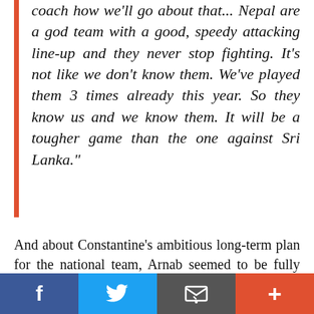coach how we'll go about that... Nepal are a god team with a good, speedy attacking line-up and they never stop fighting. It's not like we don't know them. We've played them 3 times already this year. So they know us and we know them. It will be a tougher game than the one against Sri Lanka."
And about Constantine's ambitious long-term plan for the national team, Arnab seemed to be fully supportive,
"Since coach has joined us he has said that our grassroot system needs to improve, so